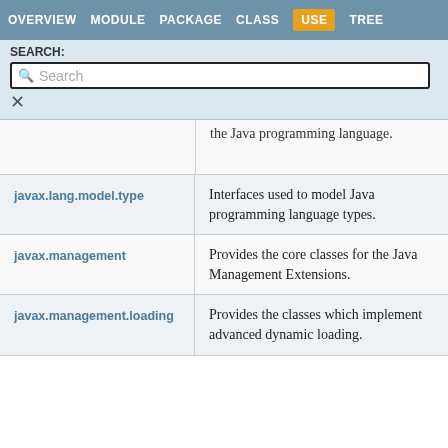OVERVIEW  MODULE  PACKAGE  CLASS  USE  TREE
SEARCH:
Search
| Package | Description |
| --- | --- |
|  | the Java programming language. |
| javax.lang.model.type | Interfaces used to model Java programming language types. |
| javax.management | Provides the core classes for the Java Management Extensions. |
| javax.management.loading | Provides the classes which implement advanced dynamic loading. |